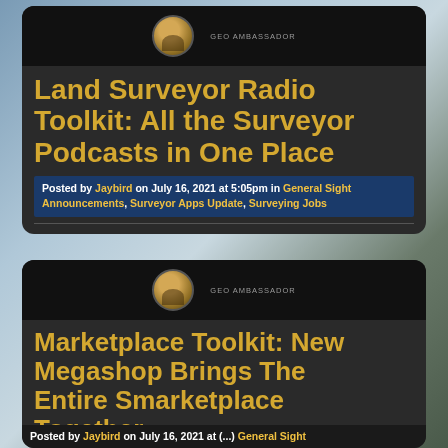[Figure (screenshot): Screenshot of a website card showing a blog post titled 'Land Surveyor Radio Toolkit: All the Surveyor Podcasts in One Place' posted by Jaybird on July 16, 2021 at 5:05pm in General Sight Announcements, Surveyor Apps Update, Surveying Jobs]
Land Surveyor Radio Toolkit: All the Surveyor Podcasts in One Place
Posted by Jaybird on July 16, 2021 at 5:05pm in General Sight Announcements, Surveyor Apps Update, Surveying Jobs
[Figure (screenshot): Screenshot of a website card showing a blog post titled 'Marketplace Toolkit: New Megashop Brings The Entire Smarketplace Together' posted by Jaybird on July 16, 2021 in General Sight]
Marketplace Toolkit: New Megashop Brings The Entire Smarketplace Together